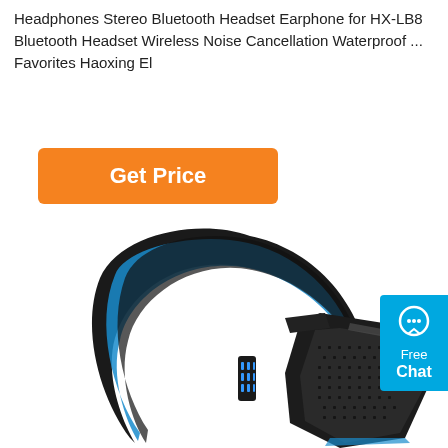Headphones Stereo Bluetooth Headset Earphone for HX-LB8 Bluetooth Headset Wireless Noise Cancellation Waterproof ... Favorites Haoxing El
[Figure (other): Orange 'Get Price' button with white bold text]
[Figure (photo): Black and blue gaming/wireless headset with angular design, mesh ear cup, and blue LED accent strip on headband]
[Figure (other): Cyan 'Free Chat' widget button with chat bubble icon on the right edge of the page]